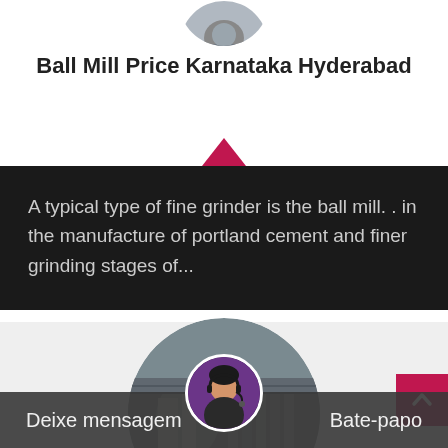[Figure (photo): Partial circular cropped photo at top, industrial or machinery related]
Ball Mill Price Karnataka Hyderabad
A typical type of fine grinder is the ball mill. . in the manufacture of portland cement and finer grinding stages of...
[Figure (photo): Circular cropped industrial photo showing industrial machinery, silos and equipment]
[Figure (photo): Chat avatar showing a customer service representative with headset]
Deixe mensagem   Bate-papo